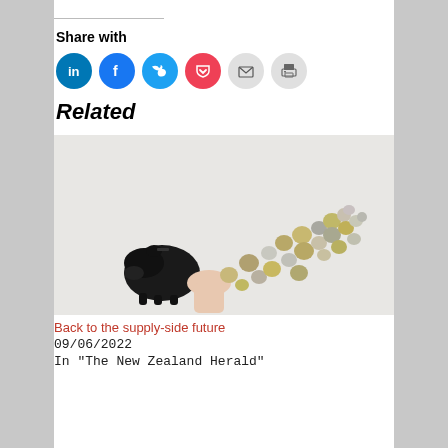Share with
[Figure (infographic): Social sharing icons: LinkedIn (blue circle), Facebook (blue circle), Twitter (light blue circle), Pocket (red circle), Email (grey circle), Print (grey circle)]
Related
[Figure (photo): A hand pouring coins out of a black piggy bank onto a white surface, coins scattered in an arc pattern]
Back to the supply-side future
09/06/2022
In "The New Zealand Herald"